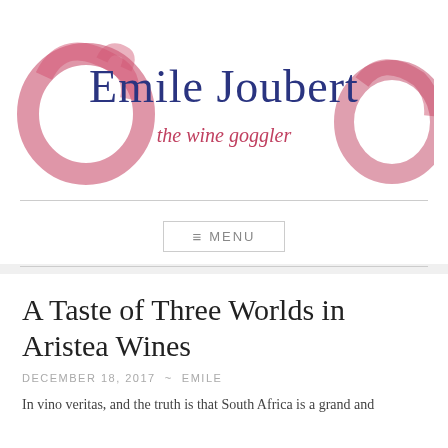[Figure (logo): Emile Joubert - the wine goggler logo with red wine glass ring stain graphics and dark blue serif text]
≡ MENU
A Taste of Three Worlds in Aristea Wines
DECEMBER 18, 2017 ~ EMILE
In vino veritas, and the truth is that South Africa is a grand and